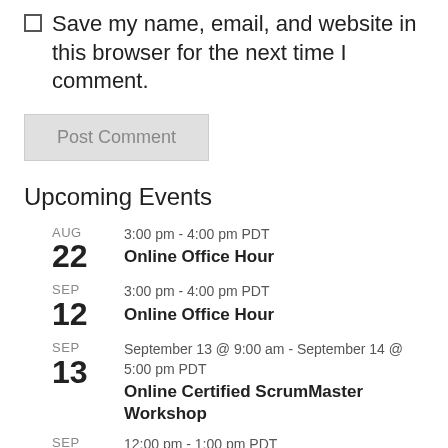Save my name, email, and website in this browser for the next time I comment.
Post Comment
Upcoming Events
AUG 22 — 3:00 pm - 4:00 pm PDT — Online Office Hour
SEP 12 — 3:00 pm - 4:00 pm PDT — Online Office Hour
SEP 13 — September 13 @ 9:00 am - September 14 @ 5:00 pm PDT — Online Certified ScrumMaster Workshop
SEP 15 — 12:00 pm - 1:00 pm PDT — Scrum Professionals – Lead without Blame, and why it matters to leaders and teams